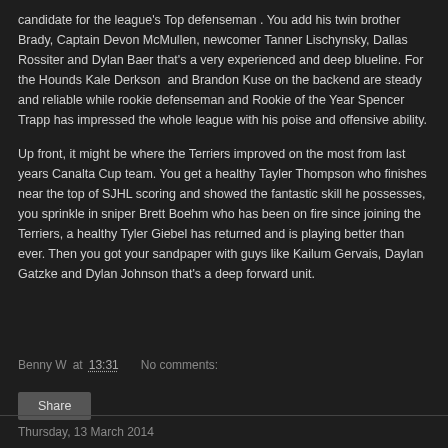candidate for the league's Top defenseman . You add his twin brother Brady, Captain Devon McMullen, newcomer Tanner Lischynsky, Dallas Rossiter and Dylan Baer that's a very experienced and deep blueline. For the Hounds Kale Derkson  and Brandon Kuse on the backend are steady and reliable while rookie defenseman and Rookie of the Year Spencer Trapp has impressed the whole league with his poise and offensive ability.
Up front, it might be where the Terriers improved on the most from last years Canalta Cup team. You get a healthy Tayler Thompson who finishes near the top of SJHL scoring and showed the fantastic skill he possesses, you sprinkle in sniper Brett Boehm who has been on fire since joining the Terriers, a healthy Tyler Giebel has returned and is playing better than ever. Then you got your sandpaper with guys like Kailum Gervais, Daylan Gatzke and Dylan Johnson that's a deep forward unit.
Benny W at 13:31    No comments:
Thursday, 13 March 2014